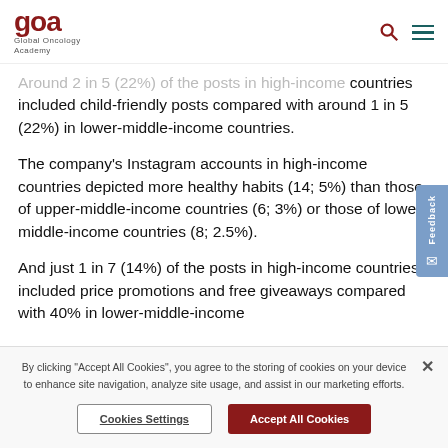Global Oncology Academy
Around 2 in 5 (22%) of the posts in high-income countries included child-friendly posts compared with around 1 in 5 (22%) in lower-middle-income countries.
The company's Instagram accounts in high-income countries depicted more healthy habits (14; 5%) than those of upper-middle-income countries (6; 3%) or those of lower-middle-income countries (8; 2.5%).
And just 1 in 7 (14%) of the posts in high-income countries included price promotions and free giveaways compared with 40% in lower-middle-income
By clicking "Accept All Cookies", you agree to the storing of cookies on your device to enhance site navigation, analyze site usage, and assist in our marketing efforts.
Cookies Settings
Accept All Cookies